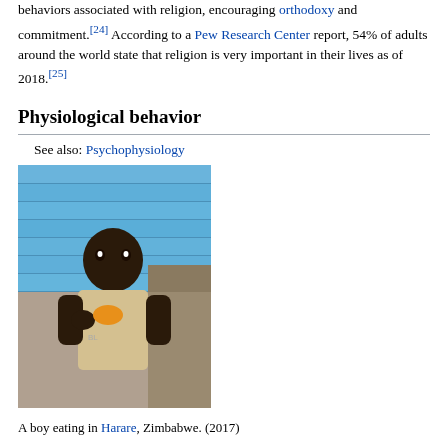behaviors associated with religion, encouraging orthodoxy and commitment.[24] According to a Pew Research Center report, 54% of adults around the world state that religion is very important in their lives as of 2018.[25]
Physiological behavior
See also: Psychophysiology
[Figure (photo): A boy eating in Harare, Zimbabwe. (2017). Child leaning against a blue wooden wall, eating something orange/yellow.]
A boy eating in Harare, Zimbabwe. (2017)
Humans undergo many behaviors common to animals to support